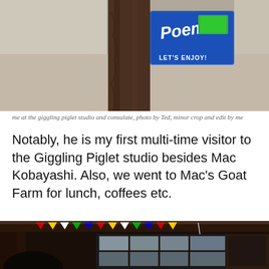[Figure (photo): Photo of a blue box with 'Poem' written on it and 'LET'S ENJOY!' text, attached to a tree trunk near a sidewalk]
me at the giggling piglet studio and consulate, photo by Ted, minor crop and edit by me
Notably, he is my first multi-time visitor to the Giggling Piglet studio besides Mac Kobayashi. Also, we went to Mac's Goat Farm for lunch, coffees etc.
[Figure (photo): Interior of Mac's Goat Farm restaurant/cafe with colorful prayer flags hanging from the ceiling, wooden beams, and windows letting in light]